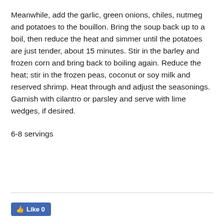Meanwhile, add the garlic, green onions, chiles, nutmeg and potatoes to the bouillon. Bring the soup back up to a boil, then reduce the heat and simmer until the potatoes are just tender, about 15 minutes. Stir in the barley and frozen corn and bring back to boiling again. Reduce the heat; stir in the frozen peas, coconut or soy milk and reserved shrimp. Heat through and adjust the seasonings. Garnish with cilantro or parsley and serve with lime wedges, if desired.
6-8 servings
[Figure (other): Facebook Like button showing 'Like 0']